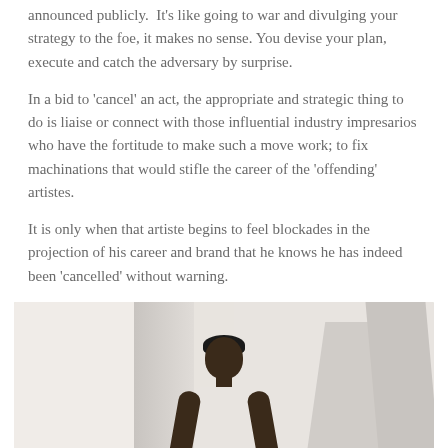announced publicly.  It's like going to war and divulging your strategy to the foe, it makes no sense. You devise your plan, execute and catch the adversary by surprise.
In a bid to 'cancel' an act, the appropriate and strategic thing to do is liaise or connect with those influential industry impresarios who have the fortitude to make such a move work; to fix machinations that would stifle the career of the 'offending' artistes.
It is only when that artiste begins to feel blockades in the projection of his career and brand that he knows he has indeed been 'cancelled' without warning.
[Figure (photo): A young Black man wearing a black durag and white tank top, seated in a light-colored interior space with white walls and geometric shadows.]